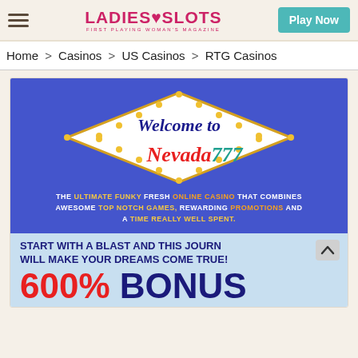Ladies Slots - First Playing Woman's Magazine | Play Now
Home > Casinos > US Casinos > RTG Casinos
[Figure (illustration): Nevada777 casino welcome banner with 'Welcome to Nevada777' in a diamond marquee sign shape on blue background, tagline 'THE ULTIMATE FUNKY FRESH ONLINE CASINO THAT COMBINES AWESOME TOP NOTCH GAMES, REWARDING PROMOTIONS AND A TIME REALLY WELL SPENT.' and lower section showing 'START WITH A BLAST AND THIS JOURNEY WILL MAKE YOUR DREAMS COME TRUE!' and '600% BONUS']